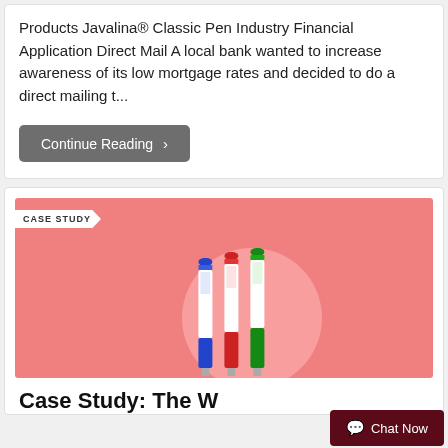Products Javalina® Classic Pen Industry Financial Application Direct Mail A local bank wanted to increase awareness of its low mortgage rates and decided to do a direct mailing t...
Continue Reading >
[Figure (photo): Case study card image with pink/salmon background showing three Javalina Classic pens (blue, red, and green) and a 'CASE STUDY' label banner in the top left corner.]
Case Study: The W